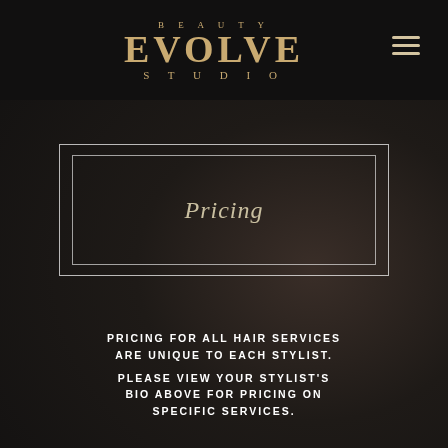[Figure (logo): Beauty Evolve Studio logo in gold/tan color on dark background with hamburger menu icon]
Pricing
PRICING FOR ALL HAIR SERVICES ARE UNIQUE TO EACH STYLIST. PLEASE VIEW YOUR STYLIST'S BIO ABOVE FOR PRICING ON SPECIFIC SERVICES.